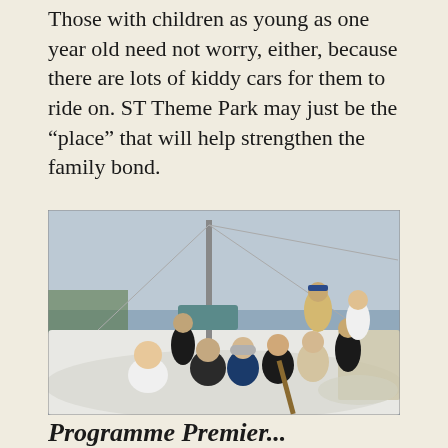Those with children as young as one year old need not worry, either, because there are lots of kiddy cars for them to ride on. ST Theme Park may just be the “place” that will help strengthen the family bond.
[Figure (photo): A group of people posing together on the deck of a sailboat at a marina. The group includes men and women of various ages, some wearing hijabs. One man in the foreground is sitting cross-legged in a white t-shirt. Several people are standing in the background near the boat's mast and rigging.]
Programme Premier...